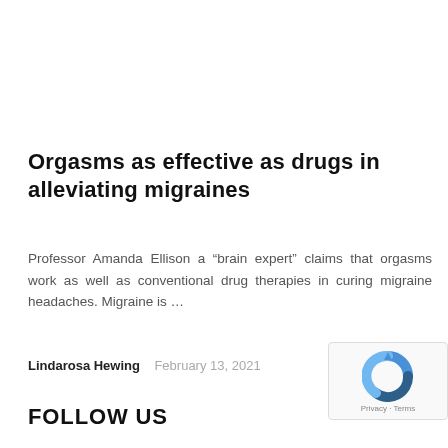Orgasms as effective as drugs in alleviating migraines
Professor Amanda Ellison a “brain expert” claims that orgasms work as well as conventional drug therapies in curing migraine headaches. Migraine is …
Lindarosa Hewing   February 13, 2021
FOLLOW US
[Figure (logo): reCAPTCHA logo with Privacy and Terms text]